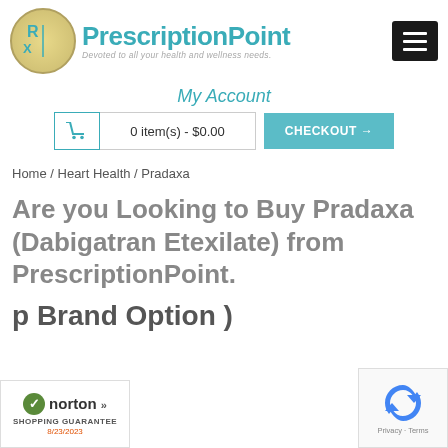[Figure (logo): PrescriptionPoint logo with Rx circle and teal brand name text, tagline 'Devoted to all your health and wellness needs.']
[Figure (other): Black hamburger menu button (three horizontal lines)]
My Account
0 item(s) - $0.00
CHECKOUT →
Home / Heart Health / Pradaxa
Are you Looking to Buy Pradaxa (Dabigatran Etexilate) from PrescriptionPoint.
p Brand Option )
[Figure (logo): Norton Shopping Guarantee badge with green checkmark]
[Figure (other): Google reCAPTCHA Privacy - Terms badge]